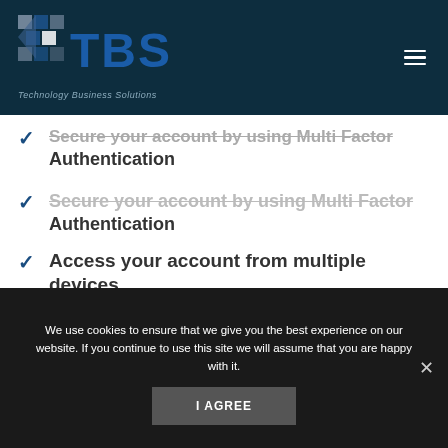[Figure (logo): TBS Technology Business Solutions logo with pixelated cube icon and blue TBS text on dark background]
Secure your account by using Multi Factor Authentication
Access your account from multiple devices
Chat from anywhere
Meet from anywhere
We use cookies to ensure that we give you the best experience on our website. If you continue to use this site we will assume that you are happy with it.
I AGREE